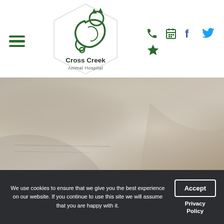[Figure (logo): Cross Creek Animal Hospital logo inside a hexagon shape with a stylized cat/animal illustration, dark text below reading 'Cross Creek Animal Hospital']
[Figure (photo): Hero image showing a blurred close-up photograph with warm grey-tan tones, appears to be a pet or veterinary related image]
We use cookies to ensure that we give you the best experience on our website. If you continue to use this site we will assume that you are happy with it.
Accept
Privacy Policy